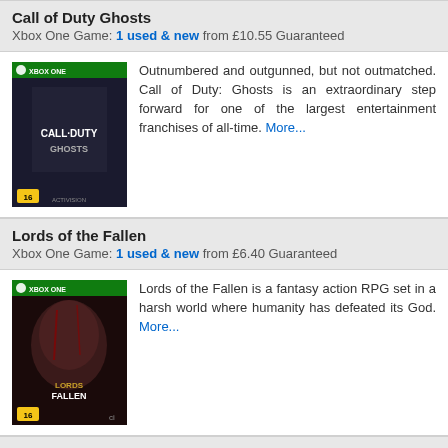Call of Duty Ghosts
Xbox One Game: 1 used & new from £10.55 Guaranteed
[Figure (photo): Call of Duty: Ghosts Xbox One game box art showing a soldier in a skull mask, with green Xbox One banner and age rating 16]
Outnumbered and outgunned, but not outmatched. Call of Duty: Ghosts is an extraordinary step forward for one of the largest entertainment franchises of all-time. More...
Lords of the Fallen
Xbox One Game: 1 used & new from £6.40 Guaranteed
[Figure (photo): Lords of the Fallen Xbox One game box art showing a warrior's face covered in blood, with green Xbox One banner and age rating 16]
Lords of the Fallen is a fantasy action RPG set in a harsh world where humanity has defeated its God. More...
Gears of War 4
Xbox One Game: 1 used & new from £4.95 Guaranteed
[Figure (photo): Gears of War 4 Xbox One game box art (partially visible)]
After narrowly escaping an attack on their